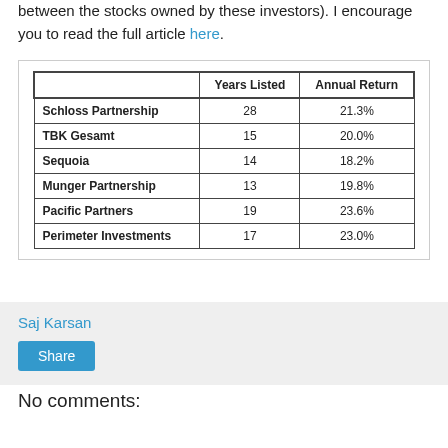between the stocks owned by these investors). I encourage you to read the full article here.
|  | Years Listed | Annual Return |
| --- | --- | --- |
| Schloss Partnership | 28 | 21.3% |
| TBK Gesamt | 15 | 20.0% |
| Sequoia | 14 | 18.2% |
| Munger Partnership | 13 | 19.8% |
| Pacific Partners | 19 | 23.6% |
| Perimeter Investments | 17 | 23.0% |
Saj Karsan
Share
No comments: